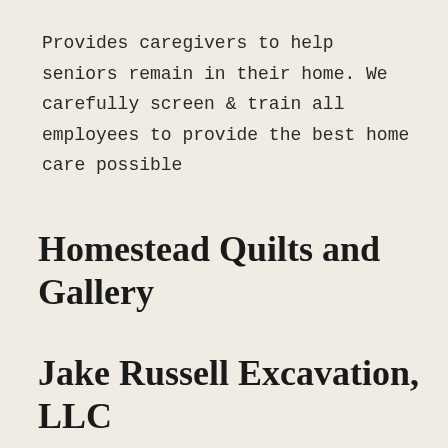Provides caregivers to help seniors remain in their home. We carefully screen & train all employees to provide the best home care possible
Homestead Quilts and Gallery
Jake Russell Excavation, LLC